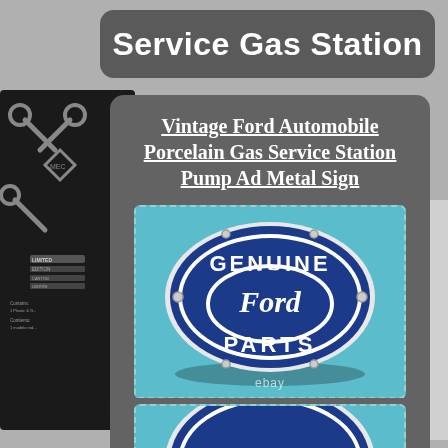Service Gas Station
Vintage Ford Automobile Porcelain Gas Service Station Pump Ad Metal Sign
[Figure (photo): Genuine Ford Parts oval porcelain enamel sign on a teal/light blue background. The sign is dark blue with a white oval border, white text reading GENUINE at top and PARTS at bottom, with the classic Ford script logo in the center oval. Small mounting bolts visible at edges. eBay watermark in lower center.]
[Figure (photo): Partial view of a second similar Genuine Ford Parts sign, showing the top portion on the same teal background.]